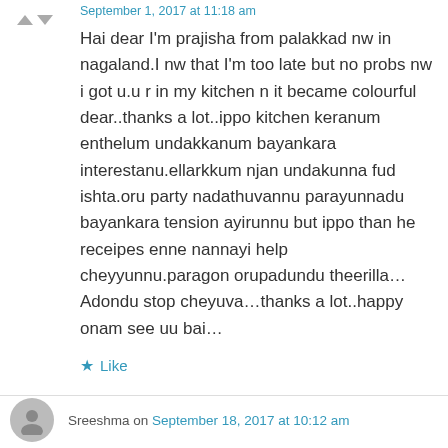Prajisha Ramsun on September 1, 2017 at 11:18 am
Hai dear I'm prajisha from palakkad nw in nagaland.I nw that I'm too late but no probs nw i got u.u r in my kitchen n it became colourful dear..thanks a lot..ippo kitchen keranum enthelum undakkanum bayankara interestanu.ellarkkum njan undakunna fud ishta.oru party nadathuvannu parayunnadu bayankara tension ayirunnu but ippo than he receipes enne nannayi help cheyyunnu.paragon orupadundu theerilla…Adondu stop cheyuva…thanks a lot..happy onam see uu bai…
Like
Sreeshma on September 18, 2017 at 10:12 am